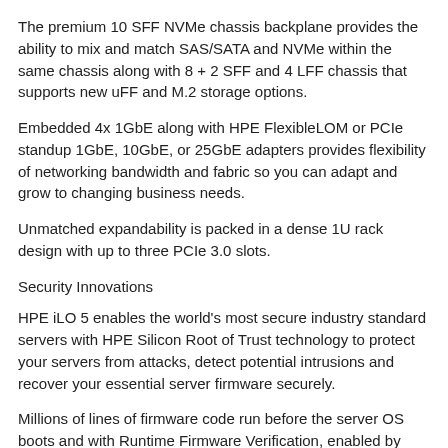The premium 10 SFF NVMe chassis backplane provides the ability to mix and match SAS/SATA and NVMe within the same chassis along with 8 + 2 SFF and 4 LFF chassis that supports new uFF and M.2 storage options.
Embedded 4x 1GbE along with HPE FlexibleLOM or PCIe standup 1GbE, 10GbE, or 25GbE adapters provides flexibility of networking bandwidth and fabric so you can adapt and grow to changing business needs.
Unmatched expandability is packed in a dense 1U rack design with up to three PCIe 3.0 slots.
Security Innovations
HPE iLO 5 enables the world's most secure industry standard servers with HPE Silicon Root of Trust technology to protect your servers from attacks, detect potential intrusions and recover your essential server firmware securely.
Millions of lines of firmware code run before the server OS boots and with Runtime Firmware Verification, enabled by HPE iLO Advanced Premium Security Edition, the server firmware is checked every 24 hours verifying validity and credibility of essential system firmware.